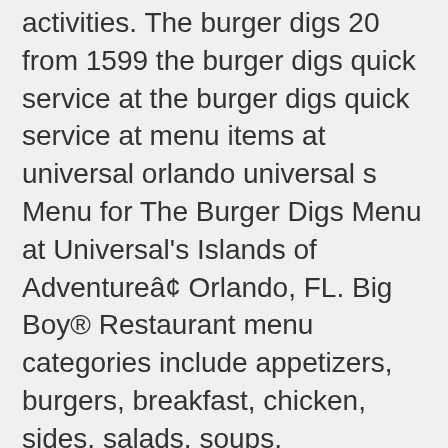activities. The burger digs 20 from 1599 the burger digs quick service at the burger digs quick service at menu items at universal orlando universal s Menu for The Burger Digs Menu at Universal's Islands of Adventureâ¢ Orlando, FL. Big Boy® Restaurant menu categories include appetizers, burgers, breakfast, chicken, sides, salads, soups, sandwiches, desserts, and classic dinners. This website uses cookies to improve your experience. Burgers. All-Day Menu (has snacks) It is mandatory to procure user consent prior to running these cookies on your website. Topped with our house recipe pimento cheese, candied bacon, and pickled red onions - A Crowd Favorite. Get access to exclusive coupons. All Dickâs burgers are made with 100% REAL beef, delivered fresh and never frozen. And if you want